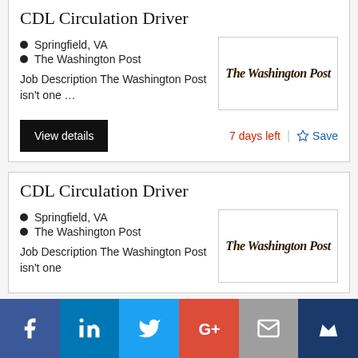CDL Circulation Driver
Springfield, VA
The Washington Post
Job Description The Washington Post isn't one …
[Figure (logo): The Washington Post logo]
View details
7 days left
Save
CDL Circulation Driver
Springfield, VA
The Washington Post
Job Description The Washington Post isn't one
[Figure (logo): The Washington Post logo]
[Figure (infographic): Social sharing bar with Facebook, LinkedIn, Twitter, Google+, Email, and Kickstarter/bookmark icons]